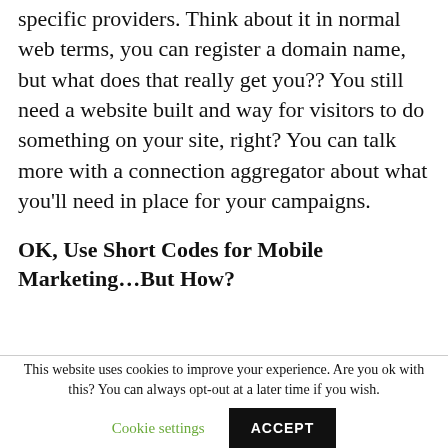specific providers. Think about it in normal web terms, you can register a domain name, but what does that really get you?? You still need a website built and way for visitors to do something on your site, right? You can talk more with a connection aggregator about what you'll need in place for your campaigns.
OK, Use Short Codes for Mobile Marketing...But How?
This website uses cookies to improve your experience. Are you ok with this? You can always opt-out at a later time if you wish.